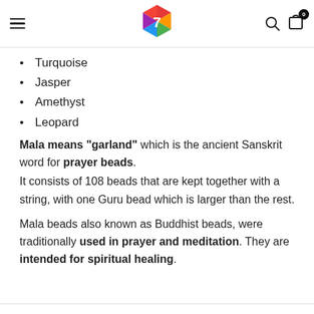Navigation header with hamburger menu, logo, search icon, and cart icon (0 items)
Turquoise
Jasper
Amethyst
Leopard
Mala means "garland" which is the ancient Sanskrit word for prayer beads.
It consists of 108 beads that are kept together with a string, with one Guru bead which is larger than the rest.
Mala beads also known as Buddhist beads, were traditionally used in prayer and meditation. They are intended for spiritual healing.